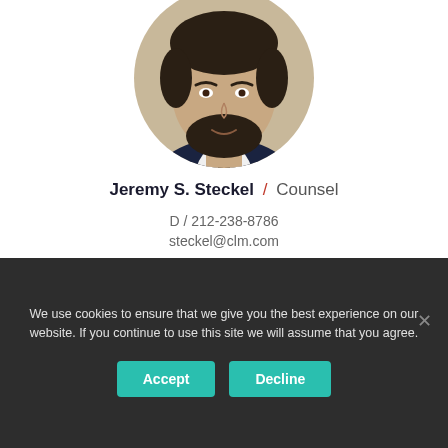[Figure (photo): Circular headshot photo of Jeremy S. Steckel, a man with dark beard wearing a suit and tie, cropped at top of page]
Jeremy S. Steckel / Counsel
D / 212-238-8786
steckel@clm.com
We use cookies to ensure that we give you the best experience on our website. If you continue to use this site we will assume that you agree.